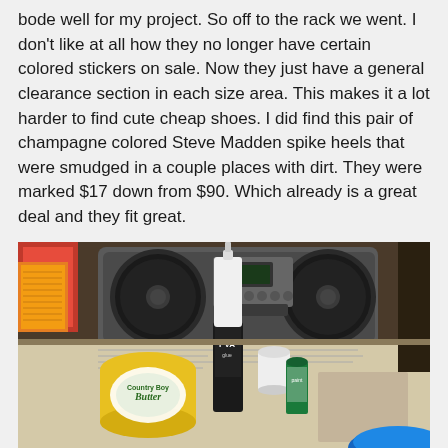bode well for my project. So off to the rack we went. I don't like at all how they no longer have certain colored stickers on sale. Now they just have a general clearance section in each size area. This makes it a lot harder to find cute cheap shoes. I did find this pair of champagne colored Steve Madden spike heels that were smudged in a couple places with dirt. They were marked $17 down from $90. Which already is a great deal and they fit great.
[Figure (photo): Photo of a table with craft supplies: a portable boombox/stereo in the background, a yellow butter tub, a bottle of PVA glue, a small white container, a small green paint bottle, and newspapers spread on the table. A blue circular object is partially visible at the bottom right.]